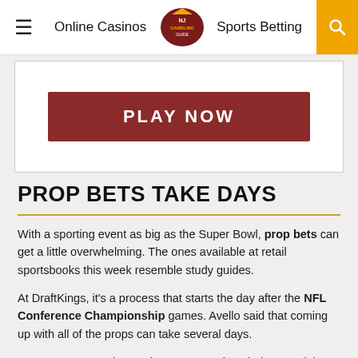Online Casinos | NJ Gambling | Sports Betting
[Figure (other): PLAY NOW button in dark red on white card]
PROP BETS TAKE DAYS
With a sporting event as big as the Super Bowl, prop bets can get a little overwhelming. The ones available at retail sportsbooks this week resemble study guides.
At DraftKings, it's a process that starts the day after the NFL Conference Championship games. Avello said that coming up with all of the props can take several days.
“You start on Monday, and you put up a bunch then. And then Tuesday, you work on another set. And then